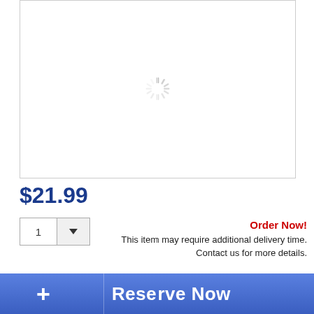[Figure (other): Product image placeholder with a spinning loader icon centered in a bordered white box]
$21.99
Order Now!
This item may require additional delivery time. Contact us for more details.
[Figure (other): Reserve Now button with blue gradient background, plus sign on left, and 'Reserve Now' text on right]